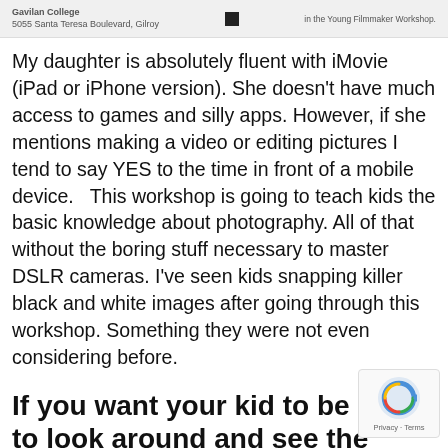[Figure (screenshot): Top strip showing Gavilan College address and partial text about Young Filmmaker Workshop]
My daughter is absolutely fluent with iMovie (iPad or iPhone version). She doesn't have much access to games and silly apps. However, if she mentions making a video or editing pictures I tend to say YES to the time in front of a mobile device.   This workshop is going to teach kids the basic knowledge about photography. All of that without the boring stuff necessary to master DSLR cameras. I've seen kids snapping killer black and white images after going through this workshop. Something they were not even considering before.
If you want your kid to be able to look around and see the beauty in a leaf or an old fence… well, this
[Figure (logo): reCAPTCHA badge with Privacy and Terms text]